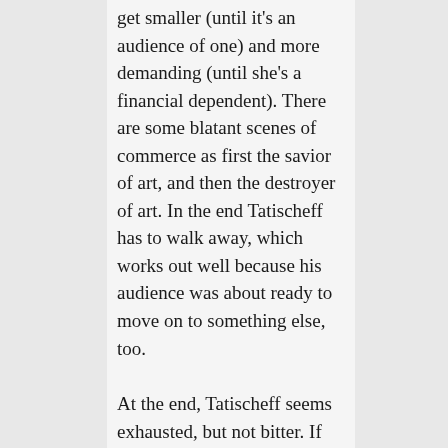get smaller (until it's an audience of one) and more demanding (until she's a financial dependent). There are some blatant scenes of commerce as first the savior of art, and then the destroyer of art. In the end Tatischeff has to walk away, which works out well because his audience was about ready to move on to something else, too.
At the end, Tatischeff seems exhausted, but not bitter. If that's really how Tati felt at the end of his career, then I wish he could have known that 30 years in the future, some of us